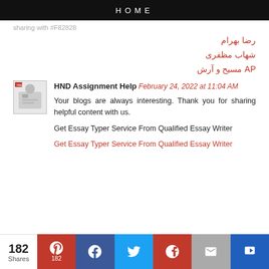HOME
sharing with #F82828
رضا بهرام
شهاب مظفری
AP مسیح و آرش
HND Assignment Help February 24, 2022 at 11:04 AM
Your blogs are always interesting. Thank you for sharing helpful content with us.
Get Essay Typer Service From Qualified Essay Writer
Get Essay Typer Service From Qualified Essay Writer